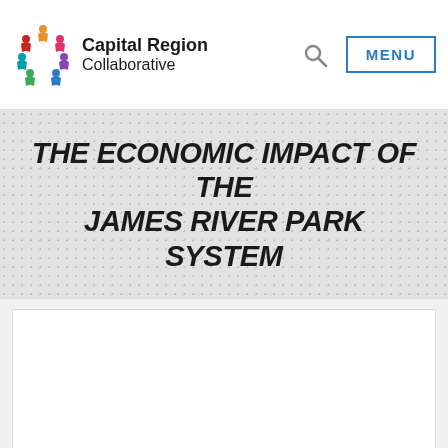Capital Region Collaborative
THE ECONOMIC IMPACT OF THE JAMES RIVER PARK SYSTEM
[Figure (other): White content area placeholder below the title]